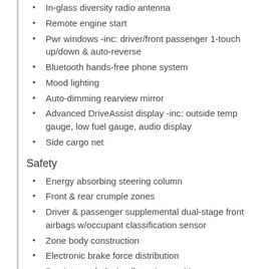In-glass diversity radio antenna
Remote engine start
Pwr windows -inc: driver/front passenger 1-touch up/down & auto-reverse
Bluetooth hands-free phone system
Mood lighting
Auto-dimming rearview mirror
Advanced DriveAssist display -inc: outside temp gauge, low fuel gauge, audio display
Side cargo net
Safety
Energy absorbing steering column
Front & rear crumple zones
Driver & passenger supplemental dual-stage front airbags w/occupant classification sensor
Zone body construction
Electronic brake force distribution
3-point seat belts in all seating positions
RearView Monitor
Energy absorbing front/rear bumpers
Child safety rear door locks
Front side-impact airbags